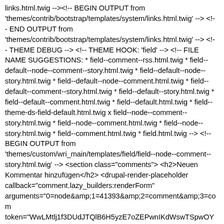links.html.twig --> <!-- BEGIN OUTPUT from 'themes/contrib/bootstrap/templates/system/links.html.twig' --> <!-- END OUTPUT from 'themes/contrib/bootstrap/templates/system/links.html.twig' --> <!-- THEME DEBUG --> <!-- THEME HOOK: 'field' --> <!-- FILE NAME SUGGESTIONS: * field--comment--rss.html.twig * field--default--node--comment--story.html.twig * field--default--node--story.html.twig * field--default--node--comment.html.twig * field--default--comment--story.html.twig * field--default--story.html.twig * field--default--comment.html.twig * field--default.html.twig * field--theme-ds-field-default.html.twig x field--node--comment--story.html.twig * field--node--comment.html.twig * field--node--story.html.twig * field--comment.html.twig * field.html.twig --> <!-- BEGIN OUTPUT from 'themes/custom/wri_main/templates/field/field--node--comment--story.html.twig' --> <section class="comments"> <h2>Neuen Kommentar hinzufügen</h2> <drupal-render-placeholder callback="comment.lazy_builders:renderForm" arguments="0=node&amp;1=41393&amp;2=comment&amp;3=com token="WwLMtlj1f3DUdJTQlB6H5yzE7oZEPwnIKdWswTSpwOY </drupal-render-placeholder> </section> <!-- END OUTPUT from 'themes/custom/wri_main/templates/field/field--node--comment--story.html.twig' --> </div> <!-- END OUTPUT from 'modules/contrib/ds/templates/ds-1col.html.twig' --> <!-- END OUTPUT from 'modules/contrib/ds/templates/ds-entity-